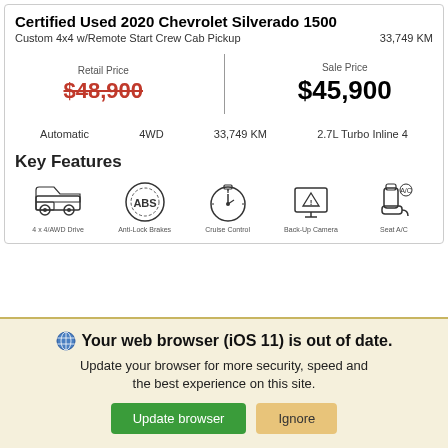Certified Used 2020 Chevrolet Silverado 1500
Custom 4x4 w/Remote Start Crew Cab Pickup    33,749 KM
Retail Price $48,900   Sale Price $45,900
Automatic   4WD   33,749 KM   2.7L Turbo Inline 4
Key Features
[Figure (infographic): Five feature icons: 4x4/4WD vehicle icon, ABS brakes icon, cruise control/timer icon, Back-Up Camera icon, seat icon]
Your web browser (iOS 11) is out of date. Update your browser for more security, speed and the best experience on this site.